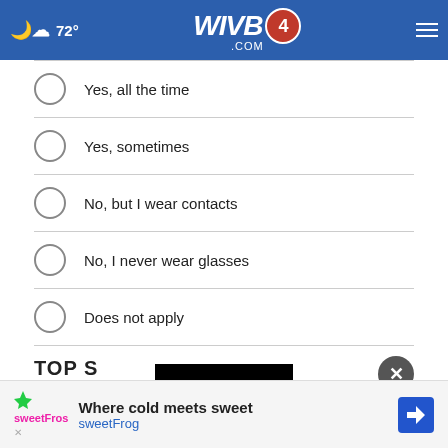[Figure (screenshot): WIVB4.com website header with weather showing 72°, WIVB4 logo in center, and hamburger menu on right]
Yes, all the time
Yes, sometimes
No, but I wear contacts
No, I never wear glasses
Does not apply
NEXT *
* By clicking "NEXT" you agree to the following: We use cookies to track your survey answers. If you would like to continue with this survey, please read and agree to the CivicScience Privacy Policy and Terms of Service
[Figure (screenshot): Advertisement banner: Where cold meets sweet - sweetFrog with logo and navigation arrow icon]